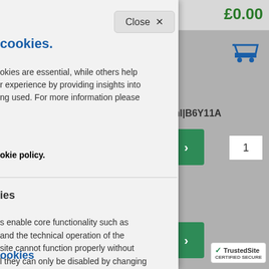[Figure (screenshot): Website background showing shopping cart with £0.00 price, green arrow buttons, quantity box with 1, product code ml|B6Y11A, and TrustedSite badge]
Close ×
cookies.
okies are essential, while others help r experience by providing insights into ng used. For more information please
okie policy.
ies
s enable core functionality such as and the technical operation of the site cannot function properly without l they can only be disabled by changing erences.
ookies